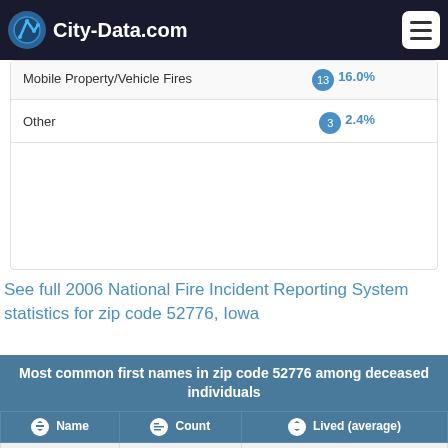City-Data.com
Mobile Property/Vehicle Fires  16.0%  13
Other  2.4%  3
See full 2006 National Fire Incident Reporting System statistics for zip code 52776, Iowa
| Name | Count | Lived (average) |
| --- | --- | --- |
| Robert | 23 | 78.7 years |
| John | 23 | 80.2 years |
| William | 21 | 78.4 years |
| Mary | 19 | 77.1 years |
| Harold | 17 | 75.7 years |